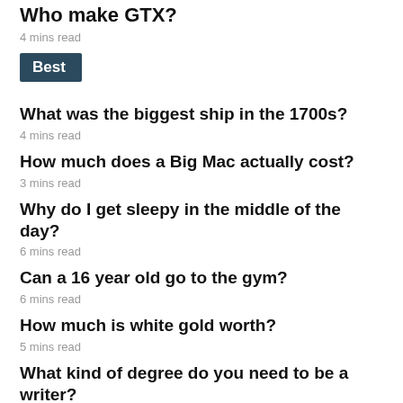Who make GTX?
4 mins read
Best
What was the biggest ship in the 1700s?
4 mins read
How much does a Big Mac actually cost?
3 mins read
Why do I get sleepy in the middle of the day?
6 mins read
Can a 16 year old go to the gym?
6 mins read
How much is white gold worth?
5 mins read
What kind of degree do you need to be a writer?